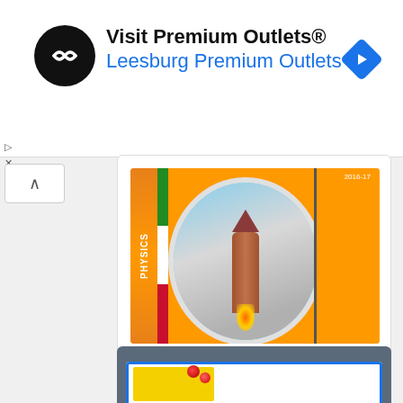[Figure (screenshot): Advertisement banner: Visit Premium Outlets / Leesburg Premium Outlets with navigation icon]
Visit Premium Outlets® Leesburg Premium Outlets
[Figure (photo): FSc 1st Year Physics book cover with rocket launch image on orange background]
FSc 1st Year or Part 1 Physics Book PDF
[Figure (screenshot): Partial card showing blue-bordered white area with yellow sticky note and red pins on dark blue-grey background]